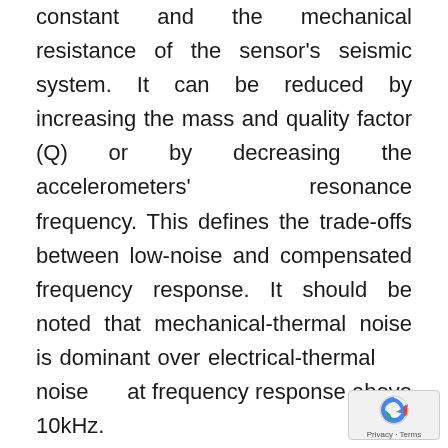constant and the mechanical resistance of the sensor's seismic system. It can be reduced by increasing the mass and quality factor (Q) or by decreasing the accelerometers' resonance frequency. This defines the trade-offs between low-noise and compensated frequency response. It should be noted that mechanical-thermal noise is dominant over electrical-thermal noise at frequency response above 10kHz.
Electrical-thermal noise is a noise contributed by internal or external